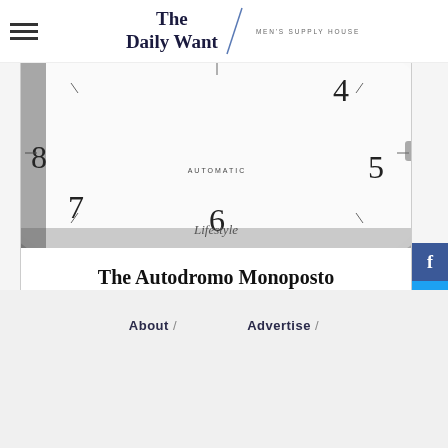The Daily Want / MEN'S SUPPLY HOUSE
[Figure (photo): Close-up of a white automatic watch face with black numerals, showing numbers 4, 5, 6, 7, 8 and the word AUTOMATIC. The Lifestyle label overlays the bottom center of the image.]
Lifestyle
The Autodromo Monoposto Chronograph Takes Inspiration From the Grand Prix
About / Advertise /